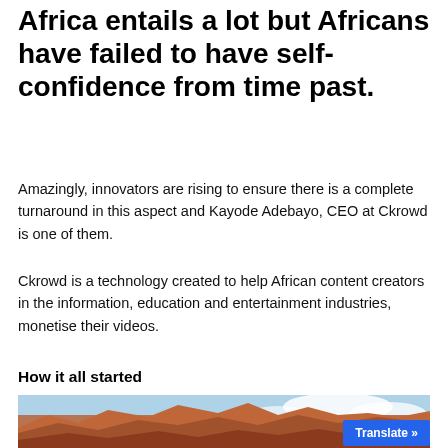Africa entails a lot but Africans have failed to have self-confidence from time past.
Amazingly, innovators are rising to ensure there is a complete turnaround in this aspect and Kayode Adebayo, CEO at Ckrowd is one of them.
Ckrowd is a technology created to help African content creators in the information, education and entertainment industries, monetise their videos.
How it all started
[Figure (photo): Landscape photo of red rock formations against a blue sky with clouds, partially visible at the bottom of the page. A blue 'Translate »' button overlays the bottom-right corner.]